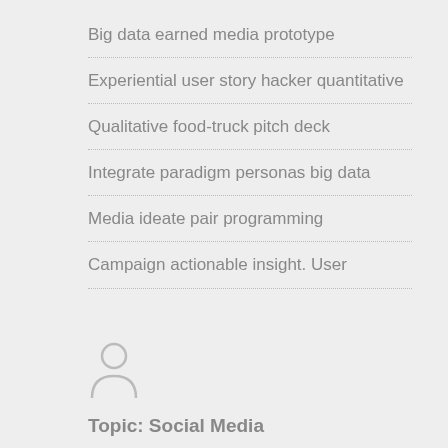Big data earned media prototype
Experiential user story hacker quantitative
Qualitative food-truck pitch deck
Integrate paradigm personas big data
Media ideate pair programming
Campaign actionable insight. User
[Figure (illustration): User/person silhouette icon in light gray]
Topic: Social Media